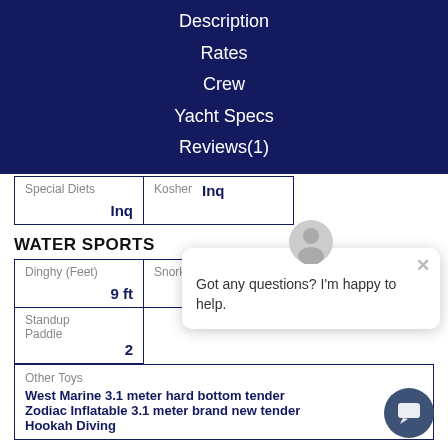Description
Rates
Crew
Yacht Specs
Reviews(1)
| Special Diets | Kosher | Inq |
| --- | --- | --- |
| Inq |  |  |
WATER SPORTS
| Dinghy (Feet) | Snorkel Gear |
| --- | --- |
| 9 ft |  |
| Standup Paddle |
| --- |
| 2 |  |
Other Toys
West Marine 3.1 meter hard bottom tender
Zodiac Inflatable 3.1 meter brand new tender
Hookah Diving
Got any questions? I'm happy to help.